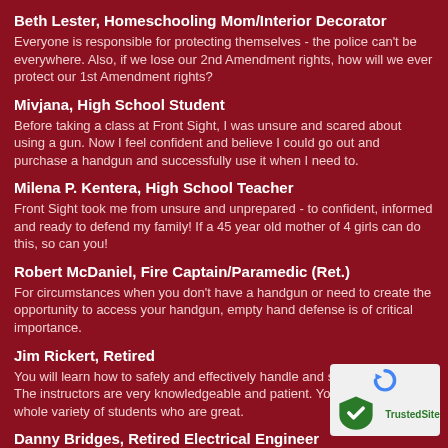Beth Lester, Homeschooling Mom/Interior Decorator
Everyone is responsible for protecting themselves - the police can't be everywhere. Also, if we lose our 2nd Amendment rights, how will we ever protect our 1st Amendment rights?
Mivjana, High School Student
Before taking a class at Front Sight, I was unsure and scared about using a gun. Now I feel confident and believe I could go out and purchase a handgun and successfully use it when I need to.
Milena P. Kentera, High School Teacher
Front Sight took me from unsure and unprepared - to confident, informed and ready to defend my family! If a 45 year old mother of 4 girls can do this, so can you!
Robert McDaniel, Fire Captain/Paramedic (Ret.)
For circumstances when you don't have a handgun or need to create the opportunity to access your handgun, empty hand defense is of critical importance.
Jim Rickert, Retired
You will learn how to safely and effectively handle and shoot a weapon. The instructors are very knowledgeable and patient. You will learn with a whole variety of students who are great.
Danny Bridges, Retired Electrical Engineer
If you want to do more than just own a handgun, Front Sight is the safety, skill, protection, and responsibility that goes along with own
[Figure (logo): TrustedSite reCAPTCHA-style badge with blue circular arrow icon and green TrustedSite label]